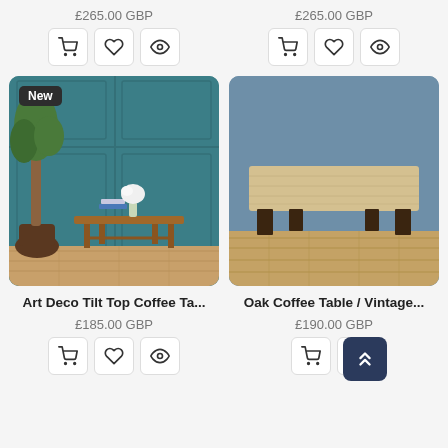£265.00 GBP
£265.00 GBP
[Figure (photo): Art Deco tilt top coffee table with wood frame, white flowers in vase and books, against teal panelled wall with tree plant. New badge shown.]
[Figure (photo): Rustic oak/vintage coffee table with light wood top and dark legs on wood floor, against blue wall.]
Art Deco Tilt Top Coffee Ta...
Oak Coffee Table / Vintage...
£185.00 GBP
£190.00 GBP